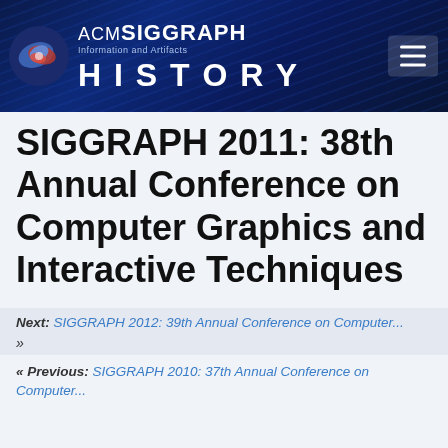ACM SIGGRAPH Information and Artifacts HISTORY
SIGGRAPH 2011: 38th Annual Conference on Computer Graphics and Interactive Techniques
Next: SIGGRAPH 2012: 39th Annual Conference on Computer... »
« Previous: SIGGRAPH 2010: 37th Annual Conference on Computer...